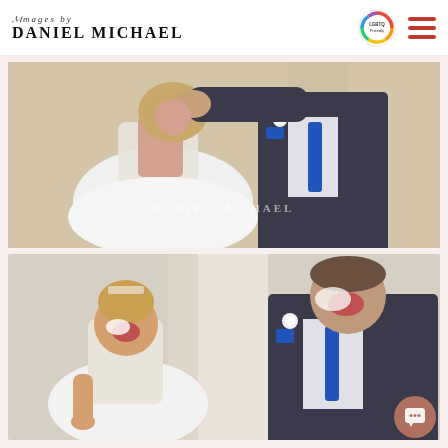Images by Daniel Michael
[Figure (photo): Wedding cake smash photo: groom feeding cake to bride from behind, bride in white gown with open back, groom in dark suit with blue tie and white boutonniere, watermark reads DANIEL MICHAEL]
[Figure (photo): Wedding cake smash photo: bride and groom laughing with cake on their faces, bride in white lace gown with tiara, groom in dark suit with blue tie, white boutonniere and blue pocket square]